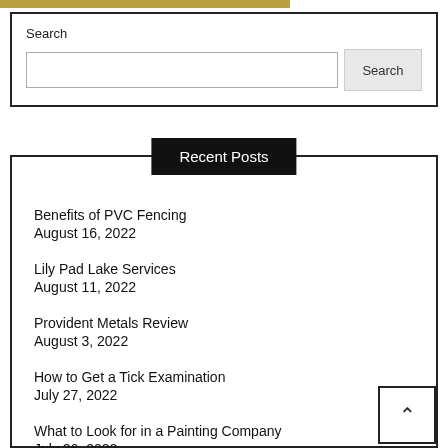Search
Search [input field] Search [button]
Recent Posts
Benefits of PVC Fencing
August 16, 2022
Lily Pad Lake Services
August 11, 2022
Provident Metals Review
August 3, 2022
How to Get a Tick Examination
July 27, 2022
What to Look for in a Painting Company
July 26, 2022